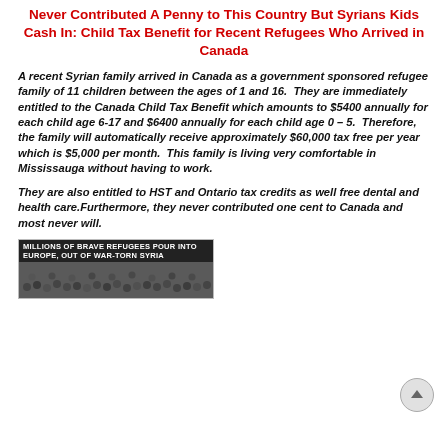Never Contributed A Penny to This Country But Syrians Kids Cash In: Child Tax Benefit for Recent Refugees Who Arrived in Canada
A recent Syrian family arrived in Canada as a government sponsored refugee family of 11 children between the ages of 1 and 16.  They are immediately entitled to the Canada Child Tax Benefit which amounts to $5400 annually for each child age 6-17 and $6400 annually for each child age 0 – 5.  Therefore, the family will automatically receive approximately $60,000 tax free per year which is $5,000 per month.  This family is living very comfortable in Mississauga without having to work.
They are also entitled to HST and Ontario tax credits as well free dental and health care.Furthermore, they never contributed one cent to Canada and most never will.
[Figure (photo): News screenshot with banner text: MILLIONS OF BRAVE REFUGEES POUR INTO EUROPE, OUT OF WAR-TORN SYRIA, with crowd of people below]